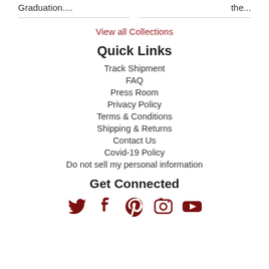Graduation....
the...
View all Collections
Quick Links
Track Shipment
FAQ
Press Room
Privacy Policy
Terms & Conditions
Shipping & Returns
Contact Us
Covid-19 Policy
Do not sell my personal information
Get Connected
[Figure (illustration): Social media icons: Twitter, Facebook, Pinterest, Instagram/camera, YouTube]